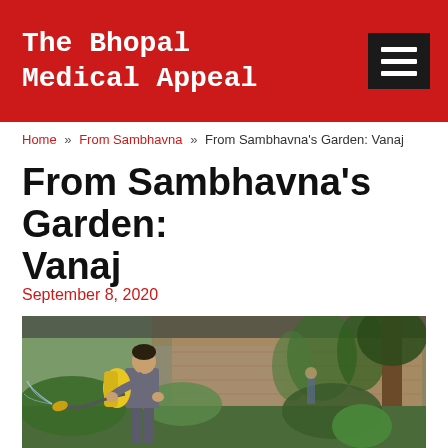The Bhopal Medical Appeal
Home » From Sambhavna » From Sambhavna's Garden: Vanaj
From Sambhavna's Garden: Vanaj
September 8, 2020
[Figure (photo): A man wearing a backpack sprayer with a yellow tank is spraying water or pesticide in a lush green garden. Brick building and chainlink fence visible in background with climbing plants.]